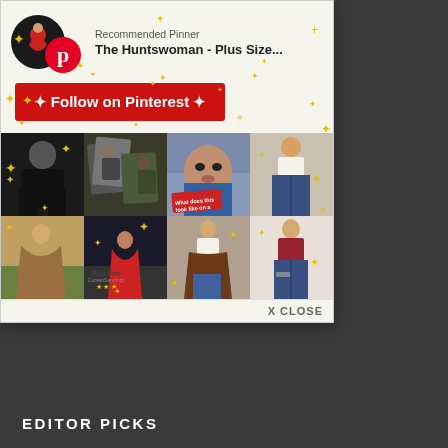[Figure (screenshot): Pinterest Recommended Pinner popup card for 'The Huntswoman - Plus Size...' with avatar, Pinterest logo, Follow on Pinterest button, and a 6x2 grid of fashion photos. Sparkle star decorations surround the card. A dark background is visible outside the card. Below the card is a dark gray bar.]
Recommended Pinner
The Huntswoman - Plus Size...
Follow on Pinterest
What does this look like on a...
Plus Size
CurvenSandings
X CLOSE
EDITOR PICKS